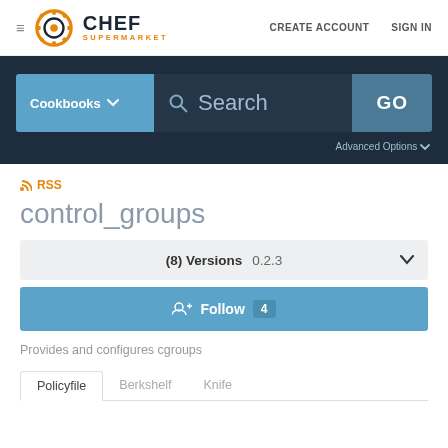≡ CHEF SUPERMARKET  CREATE ACCOUNT  SIGN IN
[Figure (screenshot): Chef Supermarket logo with orange gear icon and text CHEF SUPERMARKET]
CREATE ACCOUNT   SIGN IN
[Figure (screenshot): Search bar with Cookbooks dropdown, Search input, and GO button, with Advanced Options below]
Cookbooks ▾   Search   GO
Advanced Options ▾
RSS
control_groups
(8) Versions   0.2.3 ▼
👥 Follow  4
Provides and configures cgroups
Policyfile   Berkshelf   Knife